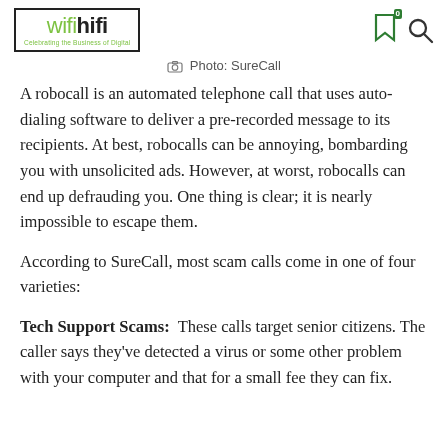wifihifi — Celebrating the Business of Digital
Photo: SureCall
A robocall is an automated telephone call that uses auto-dialing software to deliver a pre-recorded message to its recipients. At best, robocalls can be annoying, bombarding you with unsolicited ads. However, at worst, robocalls can end up defrauding you. One thing is clear; it is nearly impossible to escape them.
According to SureCall, most scam calls come in one of four varieties:
Tech Support Scams: These calls target senior citizens. The caller says they've detected a virus or some other problem with your computer and that for a small fee they can fix.